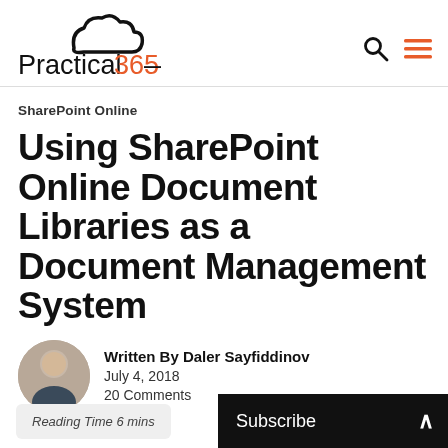Practical 365
SharePoint Online
Using SharePoint Online Document Libraries as a Document Management System
Written By Daler Sayfiddinov
July 4, 2018
20 Comments
Reading Time 6 mins
Subscribe